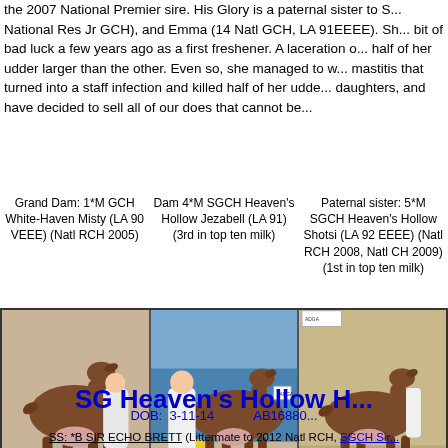the 2007 National Premier sire. His Glory is a paternal sister to S... National Res Jr GCH), and Emma (14 Natl GCH, LA 91EEEE). Sh... bit of bad luck a few years ago as a first freshener. A laceration o... half of her udder larger than the other. Even so, she managed to w... mastitis that turned into a staff infection and killed half of her udde... daughters, and have decided to sell all of our does that cannot be...
Grand Dam: 1*M GCH White-Haven Misty (LA 90 VEEE) (Natl RCH 2005)
Dam 4*M SGCH Heaven's Hollow Jezabell (LA 91) (3rd in top ten milk)
Paternal sister: 5*M SGCH Heaven's Hollow Shotsi (LA 92 EEEE) (Natl RCH 2008, Natl CH 2009) (1st in top ten milk)
[Figure (photo): Three photos of brown goats in show/profile pose]
SG Heaven's Hollow H...
DOB: 3-11-14    AB16880...
SS: *B SIR ECHO BRETT (Littermate to 2012 Natl RCH, SGCH Sir...
S: *B SG SIR ECHO CEEBRE (2014 Natl premier sire, sire 2013 Natl jr R...
SD: 5*M SGCH SIR ECHO SEEVA (92 EEEE)